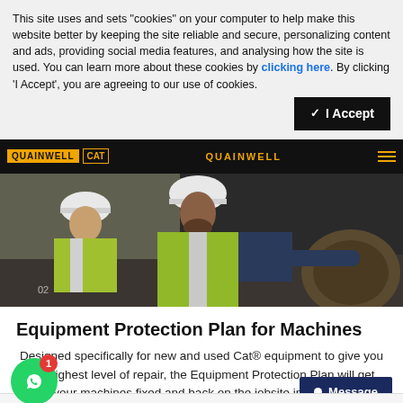This site uses and sets "cookies" on your computer to help make this website better by keeping the site reliable and secure, personalizing content and ads, providing social media features, and analysing how the site is used. You can learn more about these cookies by clicking here. By clicking 'I Accept', you are agreeing to our use of cookies.
[Figure (screenshot): Navigation bar with QUAINWELL and CAT logos on dark background]
[Figure (photo): Two construction workers in high-visibility vests and hard hats inspecting heavy equipment on a jobsite]
Equipment Protection Plan for Machines
Designed specifically for new and used Cat® equipment to give you the highest level of repair, the Equipment Protection Plan will get your machines fixed and back on the jobsite in no-time.